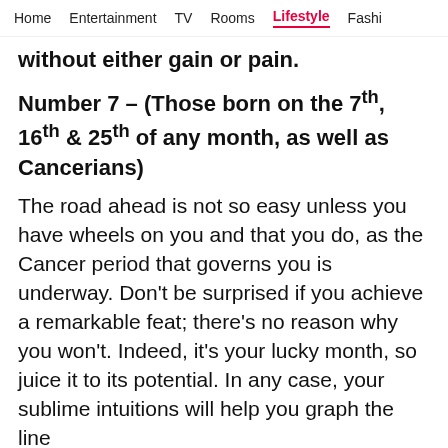Home  Entertainment  TV  Rooms  Lifestyle  Fashi
without either gain or pain.
Number 7 – (Those born on the 7th, 16th & 25th of any month, as well as Cancerians)
The road ahead is not so easy unless you have wheels on you and that you do, as the Cancer period that governs you is underway. Don’t be surprised if you achieve a remarkable feat; there’s no reason why you won’t. Indeed, it’s your lucky month, so juice it to its potential. In any case, your sublime intuitions will help you graph the line
[Figure (infographic): Social sharing icons: WhatsApp (green), Facebook (blue), Twitter (cyan), More/chat (pink/red). Close X button on right.]
[Figure (infographic): Advertisement banner: Cult Creator logo, SANJAY GUPTA ON BEING A TRENDSETTER, photo of man, Watch Now button, Pinkvilla label, close X.]